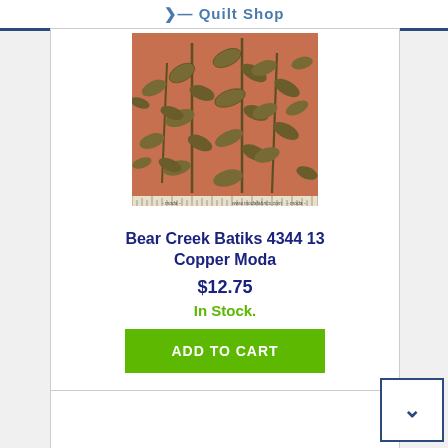Quilt Shop
[Figure (photo): Fabric swatch showing Bear Creek Batiks 4344 13 Copper Moda — a batik fabric with a leaf/foliage pattern in copper/terracotta and olive green tones, with a ruler along the bottom edge and Moda branding.]
Bear Creek Batiks 4344 13 Copper Moda
$12.75
In Stock.
ADD TO CART